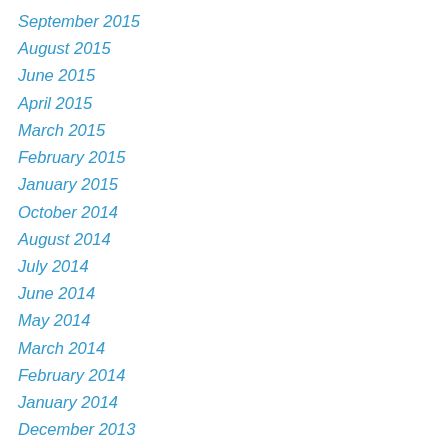September 2015
August 2015
June 2015
April 2015
March 2015
February 2015
January 2015
October 2014
August 2014
July 2014
June 2014
May 2014
March 2014
February 2014
January 2014
December 2013
November 2013
October 2013
September 2013
August 2013